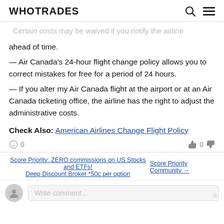WHOTRADES
— Certain costs may be waived if you notify the airline ahead of time.
— Air Canada's 24-hour flight change policy allows you to correct mistakes for free for a period of 24 hours.
— If you alter my Air Canada flight at the airport or at an Air Canada ticketing office, the airline has the right to adjust the administrative costs.
Check Also: American Airlines Change Flight Policy
Score Priority: ZERO commissions on US Stocks and ETFs! Deep Discount Broker *50c per option | Score Priority Community →